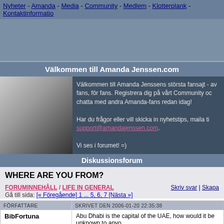Nyheter - Amanda - Media - Community - Medlem - Klotterplank - Kontaktinformation
[Figure (other): Grey advertisement banner area]
Välkommen till Amanda Jenssen.com
[Figure (photo): Black and white photo of Amanda Jenssen]
Välkommen till Amanda Jenssens största fansajt - av fans, för fans. Registrera dig på vårt Community och chatta med andra Amanda-fans redan idag!

Har du frågor eller vill skicka in nyhetstips, maila till support@amandajenssen.com.

Vi ses i forumet! =)
Diskussionsforum
WHERE ARE YOU FROM?
FORUMINNEHÅLL / LIFE IN GENERAL
Skriv svar | Skapa
Gå till sida: [« Föregående] 1 ... 5, 6, 7 [Nästa »]
| FÖRFATTARE | SKRIVET DEN 2006-01-20 22:35:38 |
| --- | --- |
| BibFortuna | Abu Dhabi is the capital of the UAE, how would it be unknown to anyo… ☺ |